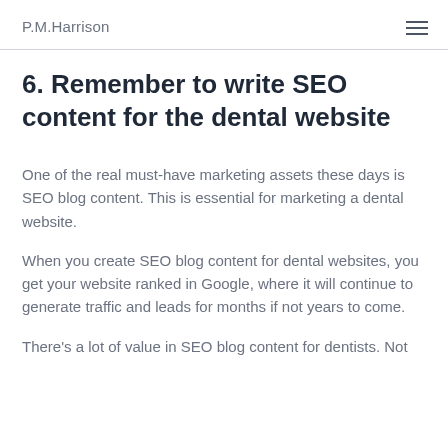P.M.Harrison
6. Remember to write SEO content for the dental website
One of the real must-have marketing assets these days is SEO blog content. This is essential for marketing a dental website.
When you create SEO blog content for dental websites, you get your website ranked in Google, where it will continue to generate traffic and leads for months if not years to come.
There's a lot of value in SEO blog content for dentists. Not